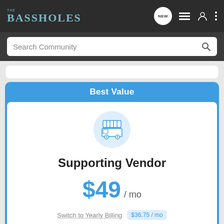THE BASSHOLES
Search Community
Best Value
[Figure (illustration): Food truck / market stall vendor icon inside a light blue circle]
Supporting Vendor
$49 / mo
Switch to Yearly Billing $36.75 / mo